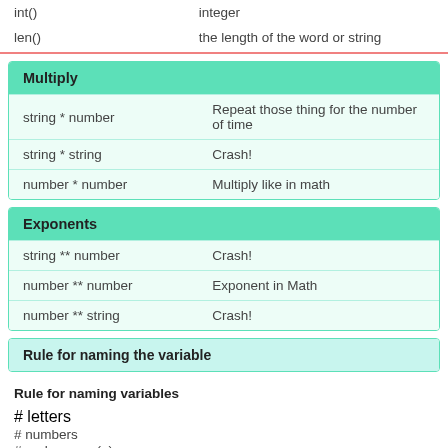| Function | Description |
| --- | --- |
| int() | integer |
| len() | the length of the word or string |
| Expression | Result |
| --- | --- |
| string * number | Repeat those thing for the number of time |
| string * string | Crash! |
| number * number | Multiply like in math |
| Expression | Result |
| --- | --- |
| string ** number | Crash! |
| number ** number | Exponent in Math |
| number ** string | Crash! |
Rule for naming the variable
Rule for naming variables
# letters
# numbers
# underscore (_)